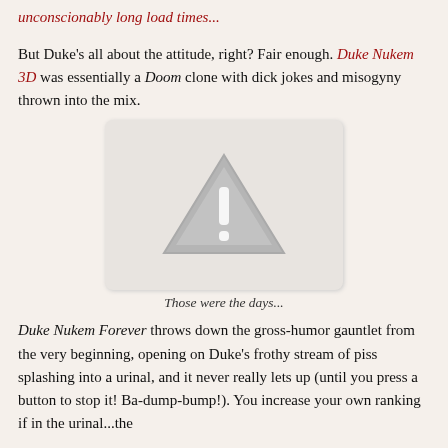unconscionably long load times...
But Duke's all about the attitude, right? Fair enough. Duke Nukem 3D was essentially a Doom clone with dick jokes and misogyny thrown into the mix.
[Figure (illustration): A warning/placeholder image box with a grey background rounded rectangle containing a large grey triangle warning symbol with an exclamation mark inside it.]
Those were the days...
Duke Nukem Forever throws down the gross-humor gauntlet from the very beginning, opening on Duke's frothy stream of piss splashing into a urinal, and it never really lets up (until you press a button to stop it! Ba-dump-bump!). You increase your own ranking if in the urinal...